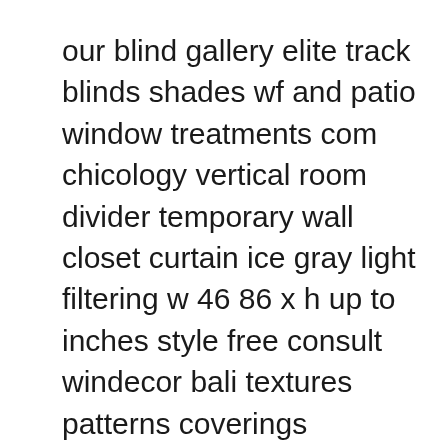our blind gallery elite track blinds shades wf and patio window treatments com chicology vertical room divider temporary wall closet curtain ice gray light filtering w 46 86 x h up to inches style free consult windecor bali textures patterns coverings